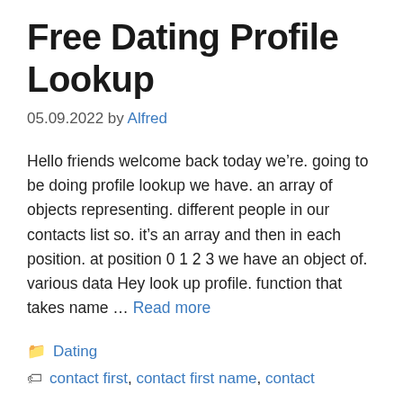Free Dating Profile Lookup
05.09.2022 by Alfred
Hello friends welcome back today we’re. going to be doing profile lookup we have. an array of objects representing. different people in our contacts list so. it’s an array and then in each position. at position 0 1 2 3 we have an object of. various data Hey look up profile. function that takes name … Read more
Dating
contact first, contact first name, contact